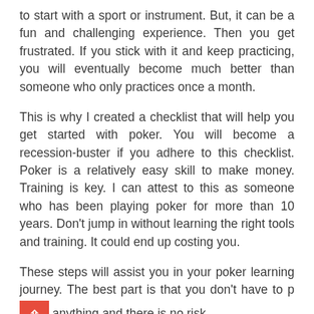to start with a sport or instrument. But, it can be a fun and challenging experience. Then you get frustrated. If you stick with it and keep practicing, you will eventually become much better than someone who only practices once a month.
This is why I created a checklist that will help you get started with poker. You will become a recession-buster if you adhere to this checklist. Poker is a relatively easy skill to make money. Training is key. I can attest to this as someone who has been playing poker for more than 10 years. Don't jump in without learning the right tools and training. It could end up costing you.
These steps will assist you in your poker learning journey. The best part is that you don't have to pay anything and there is no risk.